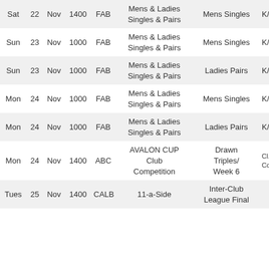| Day | Date | Month | Time | Rink | Event | Type | K/... |
| --- | --- | --- | --- | --- | --- | --- | --- |
| Sat | 22 | Nov | 1400 | FAB | Mens & Ladies Singles & Pairs | Mens Singles | K/ |
| Sun | 23 | Nov | 1000 | FAB | Mens & Ladies Singles & Pairs | Mens Singles | K/ |
| Sun | 23 | Nov | 1000 | FAB | Mens & Ladies Singles & Pairs | Ladies Pairs | K/ |
| Mon | 24 | Nov | 1000 | FAB | Mens & Ladies Singles & Pairs | Mens Singles | K/ |
| Mon | 24 | Nov | 1000 | FAB | Mens & Ladies Singles & Pairs | Ladies Pairs | K/ |
| Mon | 24 | Nov | 1400 | ABC | AVALON CUP Club Competition | Drawn Triples/ Week 6 | Cl... Con... |
| Tues | 25 | Nov | 1400 | CALB | 11-a-Side | Inter-Club League Final |  |